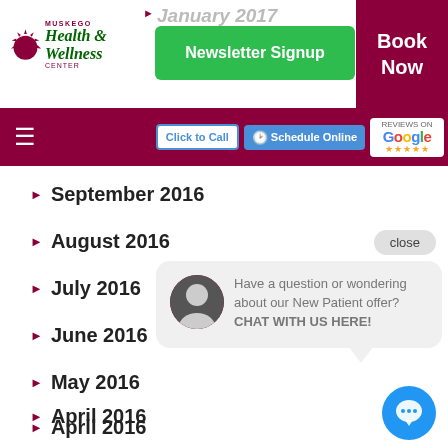[Figure (screenshot): Muskego Health & Wellness Center website header with logo, Newsletter Signup button, Book Now button, January 2017 label]
[Figure (screenshot): Navigation bar with hamburger menu, Click to Call button, Schedule Online button, Google review stars button]
September 2016
August 2016
July 2016
June 2016
May 2016
April 2016
March 2016
February 2016
Have a question or wondering about our New Patient offer? CHAT WITH US HERE!